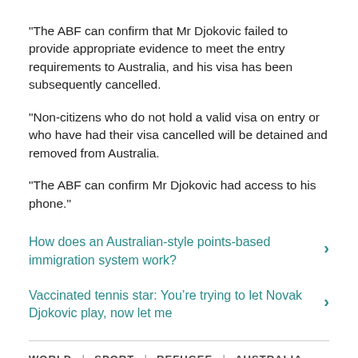"The ABF can confirm that Mr Djokovic failed to provide appropriate evidence to meet the entry requirements to Australia, and his visa has been subsequently cancelled.
"Non-citizens who do not hold a valid visa on entry or who have had their visa cancelled will be detained and removed from Australia.
"The ABF can confirm Mr Djokovic had access to his phone."
How does an Australian-style points-based immigration system work?
Vaccinated tennis star: You’re trying to let Novak Djokovic play, now let me
WORLD | SPORT | REFUGEE | AUSTRALIA